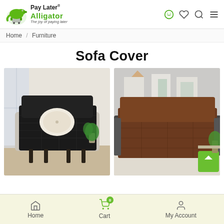[Figure (logo): Pay Later Alligator logo with green alligator mascot, shopping cart, text 'Pay Later® Alligator – The joy of paying later']
Home / Furniture
Sofa Cover
[Figure (photo): Armchair with black quilted sofa cover and cream pillow in a bright living room]
[Figure (photo): Loveseat sofa with brown quilted cover in a modern grey living room]
Home   Cart (0)   My Account